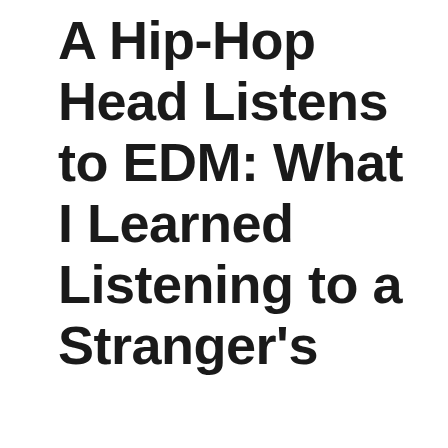A Hip-Hop Head Listens to EDM: What I Learned Listening to a Stranger's